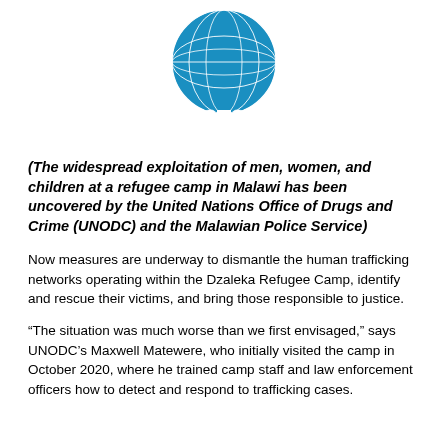[Figure (logo): United Nations emblem logo in blue on white background, showing globe with olive branches wreath]
(The widespread exploitation of men, women, and children at a refugee camp in Malawi has been uncovered by the United Nations Office of Drugs and Crime (UNODC) and the Malawian Police Service)
Now measures are underway to dismantle the human trafficking networks operating within the Dzaleka Refugee Camp, identify and rescue their victims, and bring those responsible to justice.
“The situation was much worse than we first envisaged,” says UNODC’s Maxwell Matewere, who initially visited the camp in October 2020, where he trained camp staff and law enforcement officers how to detect and respond to trafficking cases.